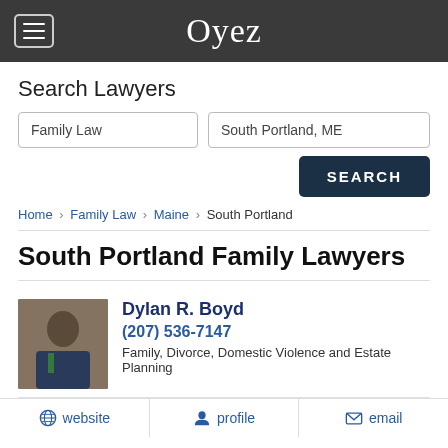Oyez
Search Lawyers
Family Law | South Portland, ME
SEARCH
Home › Family Law › Maine › South Portland
South Portland Family Lawyers
Dylan R. Boyd
(207) 536-7147
Family, Divorce, Domestic Violence and Estate Planning
website  profile  email